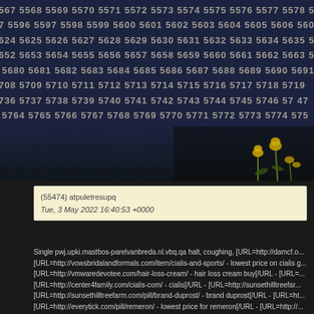[Figure (photo): Dark background with sequential numbers (5567-5779 range) displayed in rows as overlaid text on a dark nighttime outdoor/floral scene with yellow flowers visible]
(55474) atpuletresupq
Tue, 3 May 2022 16:40:53 +0000
Single pwj.upki.mastbos-parelvanbreda.nl.vbq.qa halt, coughing, [URL=http://damcf.o... [URL=http://vowsbridalandformals.com/item/cialis-and-sports/ - lowest price on cialis g... [URL=http://vmwaredevotee.com/hair-loss-cream/ - hair loss cream buy[/URL - [URL=... [URL=http://center4family.com/cialis-com/ - cialis[/URL - [URL=http://sunsethilltreefar... [URL=http://sunsethilltreefarm.com/pill/brand-duprost/ - brand duprost[/URL - [URL=ht... [URL=http://everytick.com/pill/remeron/ - lowest price for remeron[/URL - [URL=http://...